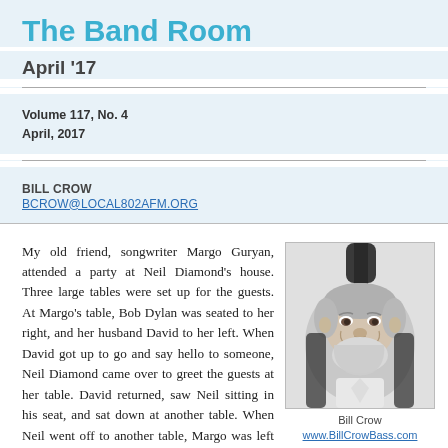The Band Room
April '17
Volume 117, No. 4
April, 2017
BILL CROW
BCROW@LOCAL802AFM.ORG
My old friend, songwriter Margo Guryan, attended a party at Neil Diamond's house. Three large tables were set up for the guests. At Margo's table, Bob Dylan was seated to her right, and her husband David to her left. When David got up to go and say hello to someone, Neil Diamond came over to greet the guests at her table. David returned, saw Neil sitting in his seat, and sat down at another table. When Neil went off to another table, Margo was left sitting next to Dylan and an empty chair.
[Figure (photo): Black and white photo of Bill Crow, smiling older man with white beard, holding a bass instrument]
Bill Crow
www.BillCrowBass.com